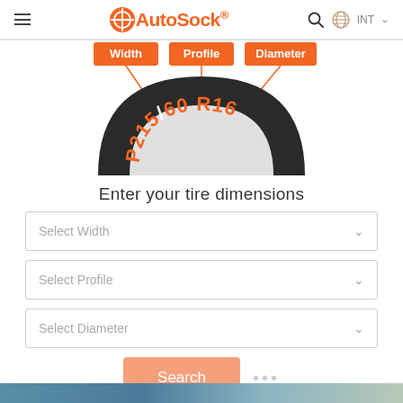AutoSock INT
[Figure (illustration): Tire cross-section diagram showing P215/60 R16 with labels for Width, Profile, and Diameter indicated by orange callout lines and badges]
Enter your tire dimensions
Select Width
Select Profile
Select Diameter
Search